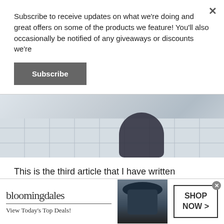Subscribe to receive updates on what we're doing and great offers on some of the products we feature! You'll also occasionally be notified of any giveaways or discounts we're
Subscribe
[Figure (photo): Photo showing a person lying on tiled floor, partial view of legs and feet]
This is the third article that I have written concerning wealthy affiliate in the past 7 days, I have never written about wealthy affiliate this
infolinks
[Figure (illustration): Bloomingdale's advertisement banner showing logo, 'View Today's Top Deals!', a woman in a large hat, and a 'SHOP NOW >' button]